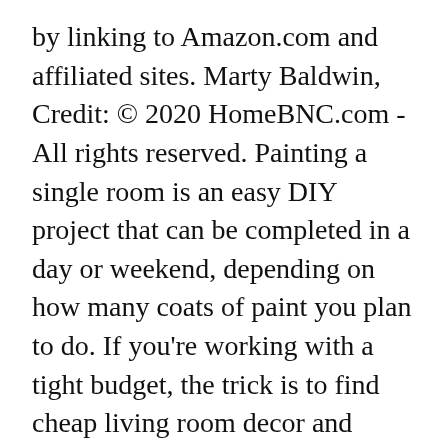by linking to Amazon.com and affiliated sites. Marty Baldwin, Credit: © 2020 HomeBNC.com - All rights reserved. Painting a single room is an easy DIY project that can be completed in a day or weekend, depending on how many coats of paint you plan to do. If you're working with a tight budget, the trick is to find cheap living room decor and furniture ideas that still deliver on style. Add some greenery. Kim Cornelison, 11 Budget-Friendly Living Room Ideas for a Quick Style Boost. The living room is tricked out with state of the art equipment including a 75-inch SONY 4K Smart TV and one of the latest SONY A/V receivers. Jim Franco, Credit: Read on for a fresh group of budget friendly living room makeover ideas. The 10